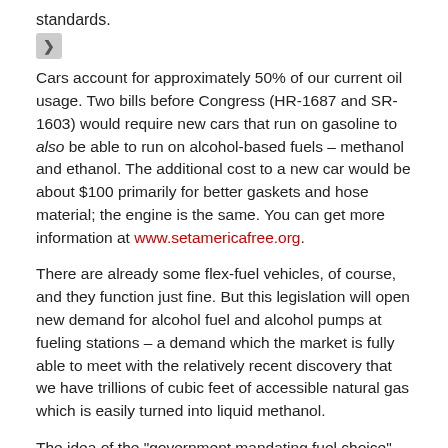standards.
Cars account for approximately 50% of our current oil usage. Two bills before Congress (HR-1687 and SR-1603) would require new cars that run on gasoline to also be able to run on alcohol-based fuels – methanol and ethanol. The additional cost to a new car would be about $100 primarily for better gaskets and hose material; the engine is the same. You can get more information at www.setamericafree.org.
There are already some flex-fuel vehicles, of course, and they function just fine. But this legislation will open new demand for alcohol fuel and alcohol pumps at fueling stations – a demand which the market is fully able to meet with the relatively recent discovery that we have trillions of cubic feet of accessible natural gas which is easily turned into liquid methanol.
The idea of the "government mandating fuel choice" really disturbs some people, although as mandates go, this one is minimal. Private capital can be expected to enter the domestic fuels market, both at the production end and at the pump, creating domestic jobs as well as improving our balance of payments. And people won't be